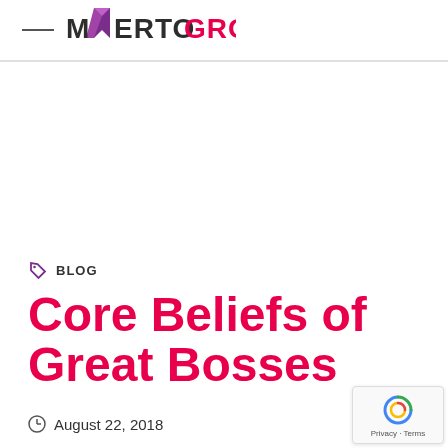MERTOGROUP
BLOG
Core Beliefs of Great Bosses
August 22, 2018